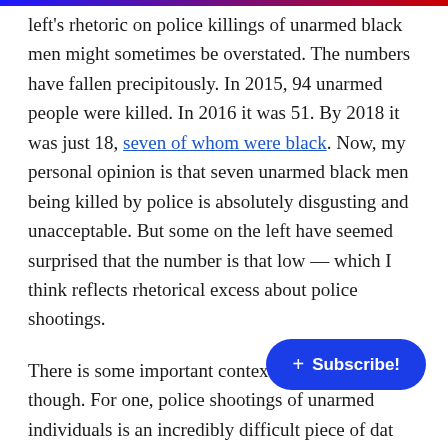left's rhetoric on police killings of unarmed black men might sometimes be overstated. The numbers have fallen precipitously. In 2015, 94 unarmed people were killed. In 2016 it was 51. By 2018 it was just 18, seven of whom were black. Now, my personal opinion is that seven unarmed black men being killed by police is absolutely disgusting and unacceptable. But some on the left have seemed surprised that the number is that low — which I think reflects rhetorical excess about police shootings.
There is some important context to those numbers, though. For one, police shootings of unarmed individuals is an incredibly difficult piece of data to track because police don't do it for us. Much of the tracking has been done by reporters and independent data
[Figure (other): Blue rounded pill-shaped Subscribe button with a plus sign, overlaid on the article text]